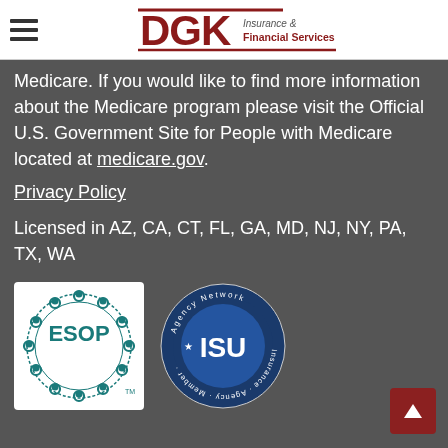DGK Insurance & Financial Services
Medicare. If you would like to find more information about the Medicare program please visit the Official U.S. Government Site for People with Medicare located at medicare.gov.
Privacy Policy
Licensed in AZ, CA, CT, FL, GA, MD, NJ, NY, PA, TX, WA
[Figure (logo): ESOP logo — teal circular design with people icons and ESOP text in center]
[Figure (logo): ISU Insurance Agency Network Member circular badge logo]